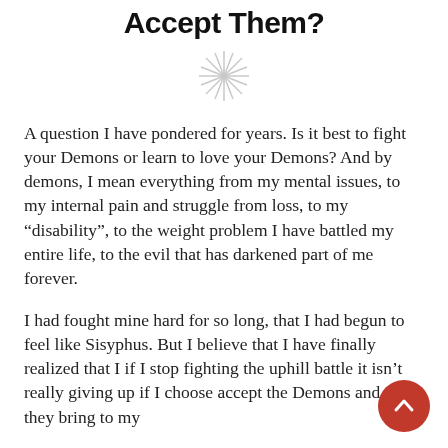Accept Them?
[Figure (illustration): Decorative sparkle/asterisk ornament in light gray]
A question I have pondered for years. Is it best to fight your Demons or learn to love your Demons? And by demons, I mean everything from my mental issues, to my internal pain and struggle from loss, to my “disability”, to the weight problem I have battled my entire life, to the evil that has darkened part of me forever.
I had fought mine hard for so long, that I had begun to feel like Sisyphus. But I believe that I have finally realized that I if I stop fighting the uphill battle it isn’t really giving up if I choose accept the Demons and what they bring to my